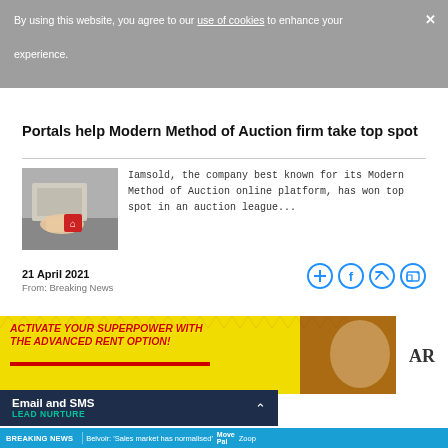By using this website, you agree to our use of cookies to enhance your experience.
Portals help Modern Method of Auction firm take top spot
[Figure (photo): Photo of hands placing a red house icon cube on a surface]
Iamsold, the company best known for its Modern Method of Auction online platform, has won top spot in an auction league...
21 April 2021
From: Breaking News
[Figure (infographic): Social sharing icons: add, facebook, twitter, linkedin]
[Figure (infographic): Banner ad: ACTIVATE YOUR SUPERPOWER WITH THE ADVANCED RENT OPTION! ARO logo]
[Figure (infographic): Email and SMS LEAD NURTURE bar with chevron]
BREAKING NEWS  Belvoir: 'Sales market has normalised'  Move Pal  Zoop